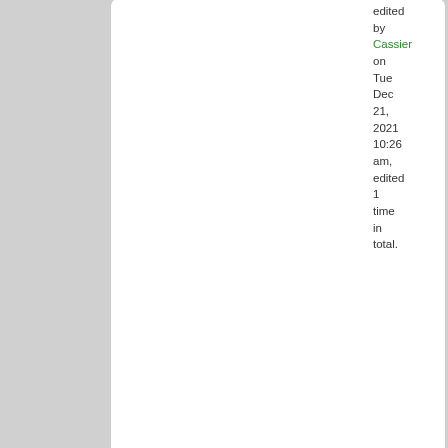edited by Cassier on Tue Dec 21, 2021 10:26 am, edited 1 time in total.
[Figure (illustration): National flag of Luziyca - three vertical bands of green, yellow, and blue]
Luziyca
Post Czar
Posts: 37553
Founded: Nov 13, 2011
Civil Rights Lovefest
QUOTE by Luziyca » Tue Dec 21, 2021 11:42 am
F
N